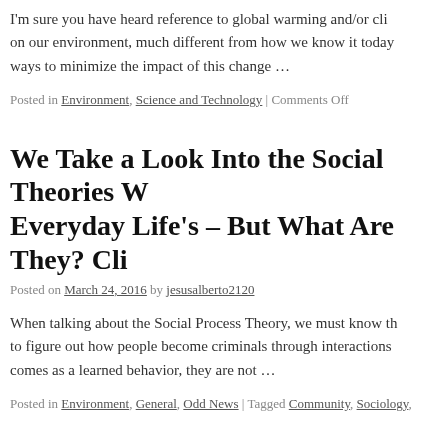I'm sure you have heard reference to global warming and/or cli… on our environment, much different from how we know it today… ways to minimize the impact of this change …
Posted in Environment, Science and Technology | Comments Off
We Take a Look Into the Social Theories W… Everyday Life's – But What Are They? Cli…
Posted on March 24, 2016 by jesusalberto2120
When talking about the Social Process Theory, we must know th… to figure out how people become criminals through interactions… comes as a learned behavior, they are not …
Posted in Environment, General, Odd News | Tagged Community, Sociology,…
Do We Care Too Much What Other People… Us? – Click To Find Out Why We Subcons…